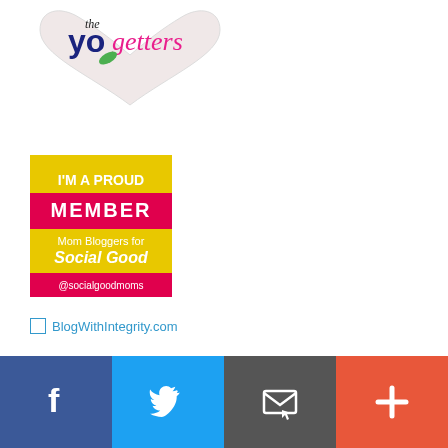[Figure (logo): YoGetters logo - heart shape with 'the Yogetters' text in navy and pink script, with a green leaf motif]
[Figure (illustration): I'm a Proud Member - Mom Bloggers for Social Good @socialgoodmoms badge on yellow/pink/white background]
BlogWithIntegrity.com
[Figure (infographic): Footer social bar with Facebook, Twitter, email, and plus/share buttons]